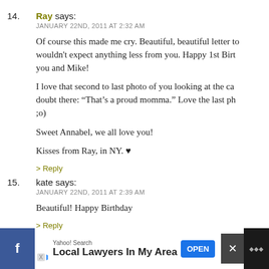14. Ray says:
JANUARY 22ND, 2011 AT 2:32 AM

Of course this made me cry. Beautiful, beautiful letter to wouldn't expect anything less from you. Happy 1st Birt you and Mike!

I love that second to last photo of you looking at the ca doubt there: “That’s a proud momma.” Love the last ph ;o)

Sweet Annabel, we all love you!

Kisses from Ray, in NY. ♥

> Reply
15. kate says:
JANUARY 22ND, 2011 AT 2:39 AM

Beautiful! Happy Birthday

> Reply
[Figure (infographic): Advertisement bar at bottom: Yahoo Search ad for Local Lawyers In My Area with OPEN button, Facebook icon on left, close X button on right]